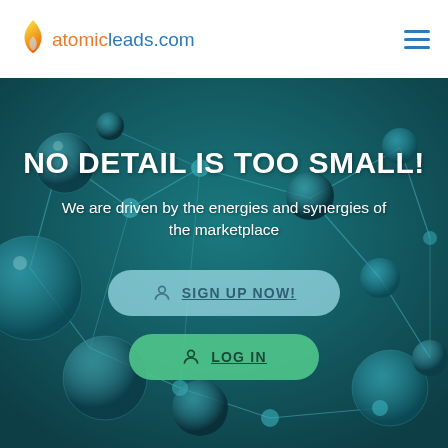[Figure (logo): Atomicleads.com logo with flame icon. 'atomic' in orange, 'leads.com' in blue.]
[Figure (illustration): Hamburger menu icon (three horizontal blue lines) in top right corner.]
[Figure (photo): Dark teal background with 3D molecular/atomic sphere network structure, used as hero image background.]
NO DETAIL IS TOO SMALL!
We are driven by the energies and synergies of the marketplace
SIGN UP NOW!
LOG IN